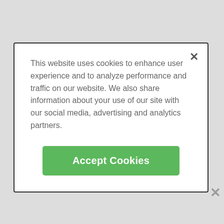[Figure (bar-chart): Star Ratings]
ADVERTISEMENT
Leave a review
This website uses cookies to enhance user experience and to analyze performance and traffic on our website. We also share information about your use of our site with our social media, advertising and analytics partners.